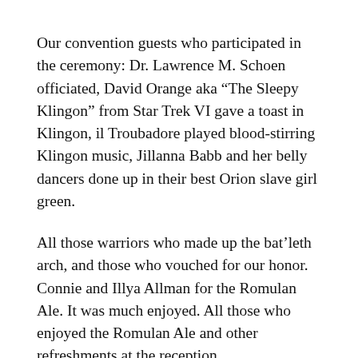Our convention guests who participated in the ceremony: Dr. Lawrence M. Schoen officiated, David Orange aka “The Sleepy Klingon” from Star Trek VI gave a toast in Klingon, il Troubadore played blood-stirring Klingon music, Jillanna Babb and her belly dancers done up in their best Orion slave girl green.
All those warriors who made up the bat’leth arch, and those who vouched for our honor. Connie and Illya Allman for the Romulan Ale. It was much enjoyed. All those who enjoyed the Romulan Ale and other refreshments at the reception.